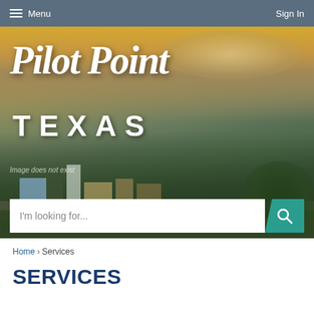Menu  Sign In
[Figure (photo): Aerial photograph of Pilot Point, Texas showing the town center with buildings, roads, and surrounding green landscape under a dramatic cloudy sky at golden hour. White overlay text reads 'Pilot Point TEXAS'. A note reads 'Image does not exist'.]
I'm looking for...
Home › Services
SERVICES